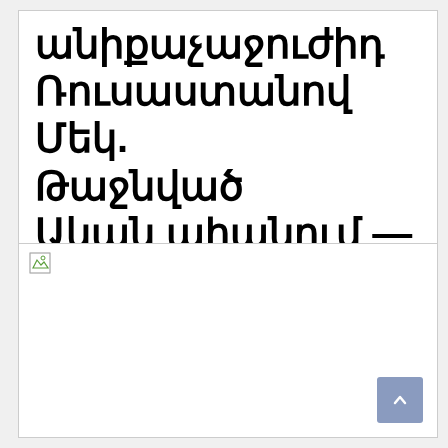անիքաչաջուժիդ Ռուսաստանով Մեկ. Թաջնված Ական ահանում —
[Figure (photo): Broken/missing image placeholder in the lower half of the page]